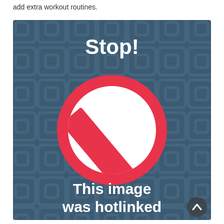add extra workout routines.
[Figure (illustration): Stop sign image with text 'Stop! This image was hotlinked' on a dark blue patterned background with a red prohibition circle-slash symbol.]